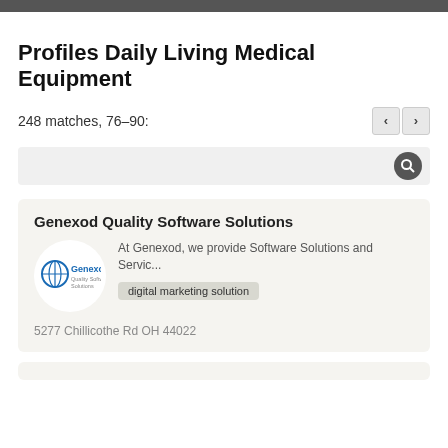Profiles Daily Living Medical Equipment
248 matches, 76–90:
[Figure (screenshot): Search bar with magnifying glass icon on grey background and navigation arrows for previous/next page]
Genexod Quality Software Solutions
At Genexod, we provide Software Solutions and Servic...
[Figure (logo): Genexod Quality Software Solutions logo — blue circular icon with compass/globe symbol and blue/grey text]
digital marketing solution
5277 Chillicothe Rd OH 44022